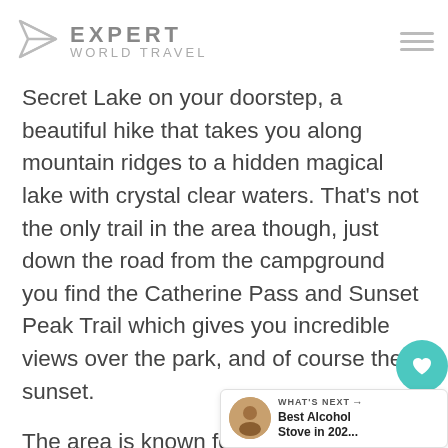EXPERT WORLD TRAVEL
Secret Lake on your doorstep, a beautiful hike that takes you along mountain ridges to a hidden magical lake with crystal clear waters. That's not the only trail in the area though, just down the road from the campground you find the Catherine Pass and Sunset Peak Trail which gives you incredible views over the park, and of course the sunset.
The area is known for its beautiful summer wildflowers, hidden lakes and crystal clear streams and is the perfect spot to go for long hikes, enjoy some